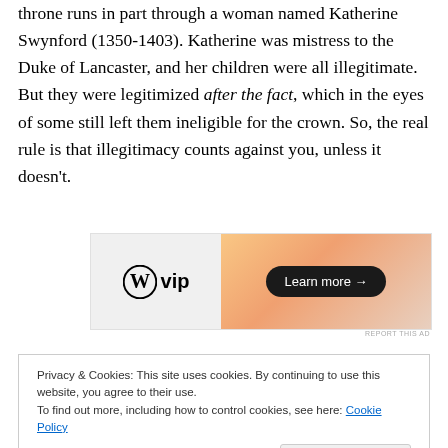throne runs in part through a woman named Katherine Swynford (1350-1403). Katherine was mistress to the Duke of Lancaster, and her children were all illegitimate. But they were legitimized after the fact, which in the eyes of some still left them ineligible for the crown. So, the real rule is that illegitimacy counts against you, unless it doesn't.
[Figure (other): WordPress VIP advertisement banner with 'W vip' logo on left and gradient orange/peach background on right with a 'Learn more →' button]
Privacy & Cookies: This site uses cookies. By continuing to use this website, you agree to their use. To find out more, including how to control cookies, see here: Cookie Policy
Close and accept